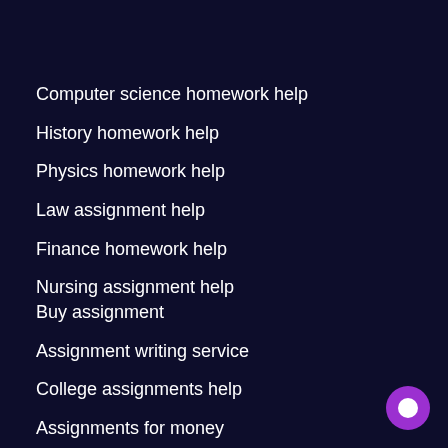Computer science homework help
History homework help
Physics homework help
Law assignment help
Finance homework help
Nursing assignment help
Buy assignment
Assignment writing service
College assignments help
Assignments for money
Assignment editing